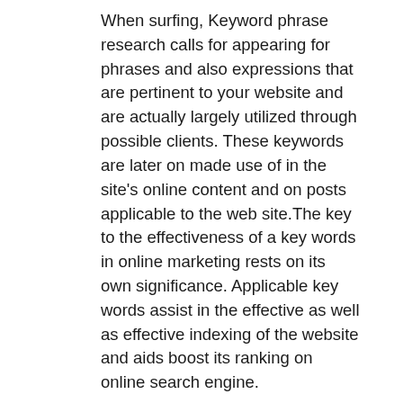When surfing, Keyword phrase research calls for appearing for phrases and also expressions that are pertinent to your website and are actually largely utilized through possible clients. These keywords are later on made use of in the site's online content and on posts applicable to the web site.The key to the effectiveness of a key words in online marketing rests on its own significance. Applicable key words assist in the effective as well as effective indexing of the website and aids boost its ranking on online search engine.
The majority of SEO carriers understand that keyword phrases really improvements with time. In this case, it is necessary that SEO suppliers remain to integrate brand-new keywords to web site components and create brand-new contents making use of such search phrases. Many IT outsourcing service providers refer to such task as SEO routine